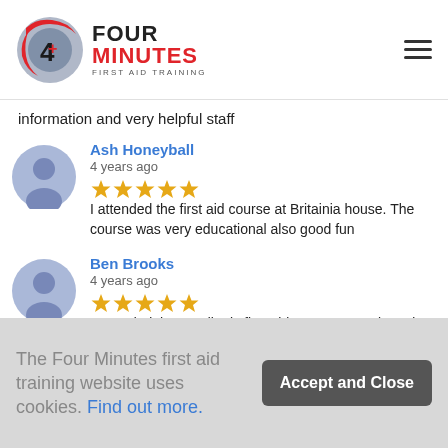[Figure (logo): Four Minutes First Aid Training logo with circular red/grey emblem and bold text]
information and very helpful staff
Ash Honeyball
4 years ago
★★★★★ I attended the first aid course at Britainia house. The course was very educational also good fun
Ben Brooks
4 years ago
★★★★★ I attended the paediatric first aid course recently and we learned lots about CPR, choking, serious injuries and how to treat them. Fotini was a excellent instructor, would highly recommend to anyone looking for
The Four Minutes first aid training website uses cookies. Find out more.